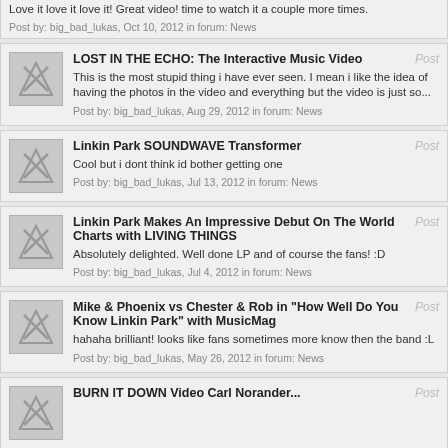Love it love it love it! Great video! time to watch it a couple more times.
Post by: big_bad_lukas, Oct 10, 2012 in forum: News
LOST IN THE ECHO: The Interactive Music Video
This is the most stupid thing i have ever seen. I mean i like the idea of having the photos in the video and everything but the video is just so...
Post by: big_bad_lukas, Aug 29, 2012 in forum: News
Linkin Park SOUNDWAVE Transformer
Cool but i dont think id bother getting one
Post by: big_bad_lukas, Jul 13, 2012 in forum: News
Linkin Park Makes An Impressive Debut On The World Charts with LIVING THINGS
Absolutely delighted. Well done LP and of course the fans! :D
Post by: big_bad_lukas, Jul 4, 2012 in forum: News
Mike & Phoenix vs Chester & Rob in "How Well Do You Know Linkin Park" with MusicMag
hahaha brilliant! looks like fans sometimes more know then the band :L
Post by: big_bad_lukas, May 26, 2012 in forum: News
BURN IT DOWN Video Carl Norander...